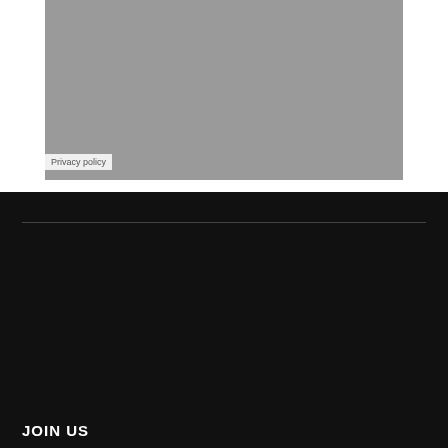[Figure (screenshot): Google Maps or similar map embed placeholder shown as a grey rectangle with a Privacy policy label at the bottom left]
Privacy policy
JOIN US
Keep up to date with all the latest Addictive Behaviour releases, forthcoming events info, discounts and special offers :
BECOME AN ADDICT - SIGN UP TO NEWSLETTER
SEND YOUR DEMOS